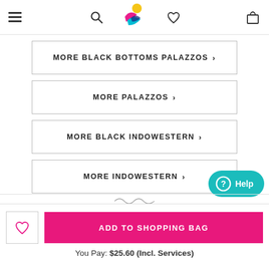Navigation header with hamburger menu, search icon, logo, heart icon, and bag icon
MORE BLACK BOTTOMS PALAZZOS >
MORE PALAZZOS >
MORE BLACK INDOWESTERN >
MORE INDOWESTERN >
Help
ADD TO SHOPPING BAG
You Pay: $25.60 (Incl. Services)